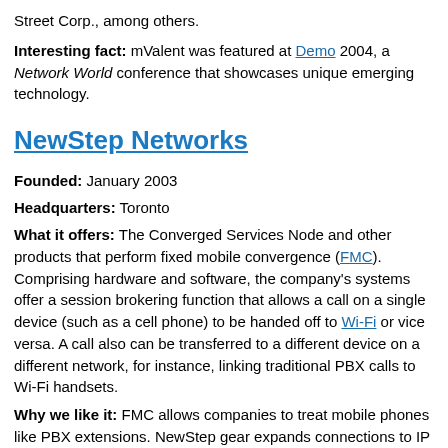Street Corp., among others.
Interesting fact: mValent was featured at Demo 2004, a Network World conference that showcases unique emerging technology.
NewStep Networks
Founded: January 2003
Headquarters: Toronto
What it offers: The Converged Services Node and other products that perform fixed mobile convergence (FMC). Comprising hardware and software, the company's systems offer a session brokering function that allows a call on a single device (such as a cell phone) to be handed off to Wi-Fi or vice versa. A call also can be transferred to a different device on a different network, for instance, linking traditional PBX calls to Wi-Fi handsets.
Why we like it: FMC allows companies to treat mobile phones like PBX extensions. NewStep gear expands connections to IP...